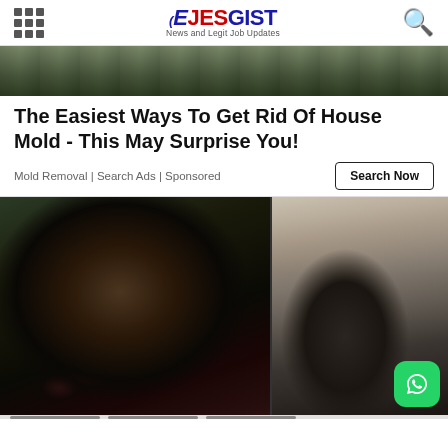EJESGIST - News and Legit Job Updates
[Figure (photo): Top image strip showing outdoor scene with dark/green tones]
The Easiest Ways To Get Rid Of House Mold - This May Surprise You!
Mold Removal | Search Ads | Sponsored
[Figure (photo): Left: close-up of a man's bruised and battered face. Right: a man seen from behind in a dimly lit room.]